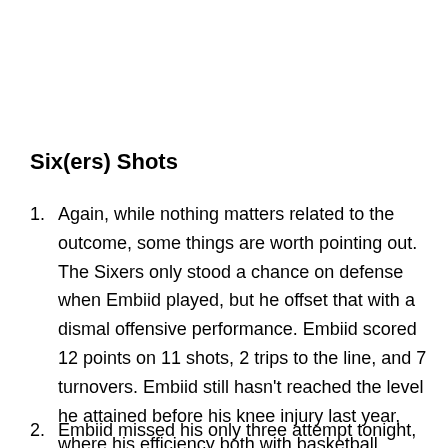Six(ers) Shots
Again, while nothing matters related to the outcome, some things are worth pointing out. The Sixers only stood a chance on defense when Embiid played, but he offset that with a dismal offensive performance. Embiid scored 12 points on 11 shots, 2 trips to the line, and 7 turnovers. Embiid still hasn’t reached the level he attained before his knee injury last year, where his efficiency both with basketball possession and scoring peaked.
Embiid missed his only three attempt tonight, and